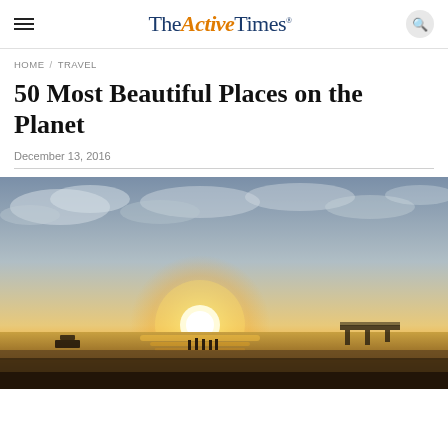TheActiveTimes
HOME / TRAVEL
50 Most Beautiful Places on the Planet
December 13, 2016
[Figure (photo): Sunset beach scene with silhouettes of people on the shoreline, a pier in the background, dramatic golden sky with clouds.]